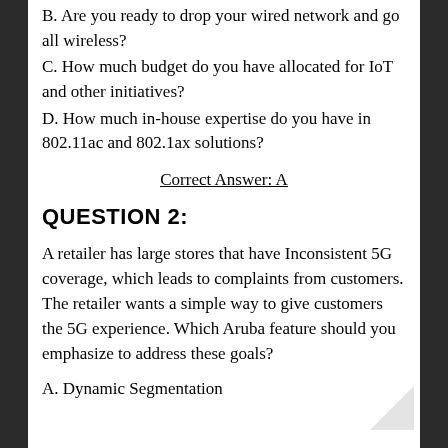B. Are you ready to drop your wired network and go all wireless?
C. How much budget do you have allocated for IoT and other initiatives?
D. How much in-house expertise do you have in 802.11ac and 802.1ax solutions?
Correct Answer: A
QUESTION 2:
A retailer has large stores that have Inconsistent 5G coverage, which leads to complaints from customers. The retailer wants a simple way to give customers the 5G experience. Which Aruba feature should you emphasize to address these goals?
A. Dynamic Segmentation